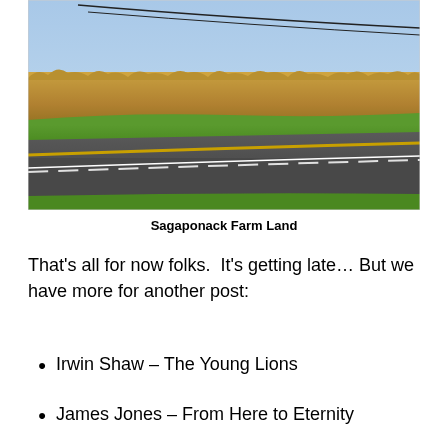[Figure (photo): A rural road scene with green grass on both sides, a field of tall dried corn stalks in the background, and a clear blue sky with power lines overhead. The road has a yellow center line. Sagaponack farmland.]
Sagaponack Farm Land
That’s all for now folks.  It’s getting late… But we have more for another post:
Irwin Shaw – The Young Lions
James Jones – From Here to Eternity